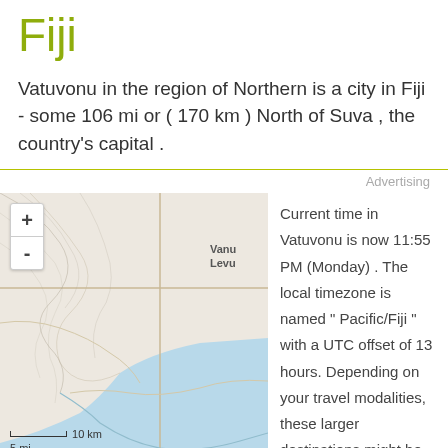Fiji
Vatuvonu in the region of Northern is a city in Fiji - some 106 mi or ( 170 km ) North of Suva , the country's capital .
Advertising
[Figure (map): Map showing Vatuvonu region in Fiji with terrain, roads, and coastline. Zoom controls visible. Scale bar shows 10 km and 5 mi.]
Current time in Vatuvonu is now 11:55 PM (Monday) . The local timezone is named " Pacific/Fiji " with a UTC offset of 13 hours. Depending on your travel modalities, these larger destinations might be interesting for you: